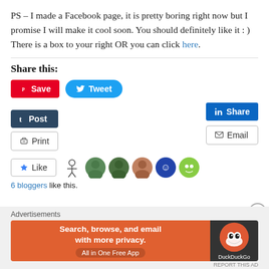PS – I made a Facebook page, it is pretty boring right now but I promise I will make it cool soon. You should definitely like it : ) There is a box to your right OR you can click here.
Share this:
[Figure (screenshot): Social sharing buttons: Save (Pinterest), Tweet (Twitter), Share (LinkedIn), Post (Tumblr), Email, Print]
[Figure (screenshot): Like button and 6 blogger avatars]
6 bloggers like this.
Advertisements
[Figure (screenshot): DuckDuckGo advertisement banner: Search, browse, and email with more privacy. All in One Free App]